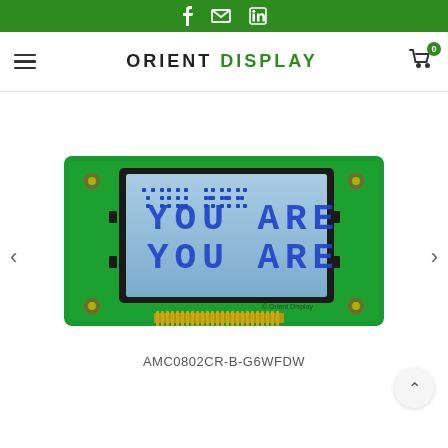Social links bar (Facebook, Email, LinkedIn)
ORIENT DISPLAY — navigation header with hamburger menu and cart (0 items)
[Figure (photo): Orient Display AMC0802CR-B-G6WFDW LCD character display module. Green PCB with a blue backlit screen showing 'YOU ARE YOU ARE' in blue dot-matrix characters. Gold connector pins along the bottom edge. Product label reads 'Orient Display'. Navigation arrows (< >) on left and right sides.]
AMC0802CR-B-G6WFDW